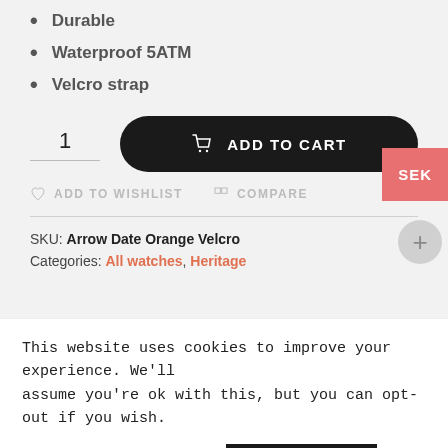Durable
Waterproof 5ATM
Velcro strap
1  ADD TO CART
ADD TO WISHLIST   COMPARE
SKU: Arrow Date Orange Velcro
Categories: All watches, Heritage
This website uses cookies to improve your experience. We'll assume you're ok with this, but you can opt-out if you wish.
Cookie settings   ACCEPT